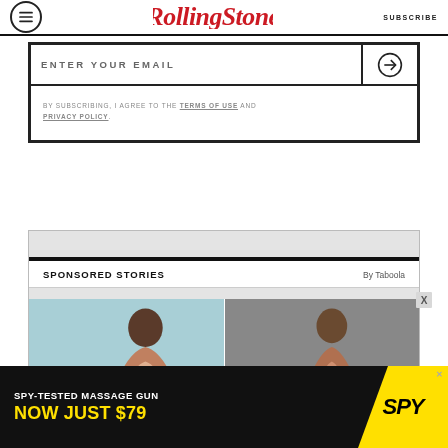RollingStone  SUBSCRIBE
ENTER YOUR EMAIL
BY SUBSCRIBING, I AGREE TO THE TERMS OF USE AND PRIVACY POLICY.
SPONSORED STORIES  By Taboola
[Figure (photo): Two sponsored story thumbnail images showing women]
[Figure (infographic): SPY-TESTED MASSAGE GUN NOW JUST $79 advertisement banner with SPY logo]